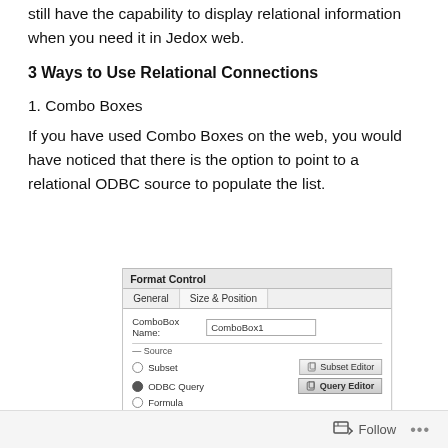still have the capability to display relational information when you need it in Jedox web.
3 Ways to Use Relational Connections
1. Combo Boxes
If you have used Combo Boxes on the web, you would have noticed that there is the option to point to a relational ODBC source to populate the list.
[Figure (screenshot): Format Control dialog screenshot showing ComboBox Name field with 'ComboBox1', Source section with Subset, ODBC Query (selected), and Formula radio buttons, with Subset Editor and Query Editor buttons, and a formula text field showing '=ODBCEXEC("pp-GL";"Select distinct ""MODULECODE"" from ""GL_TRAN"')'. A 'Paste ODBC Query' bar appears at the bottom.]
Follow ...